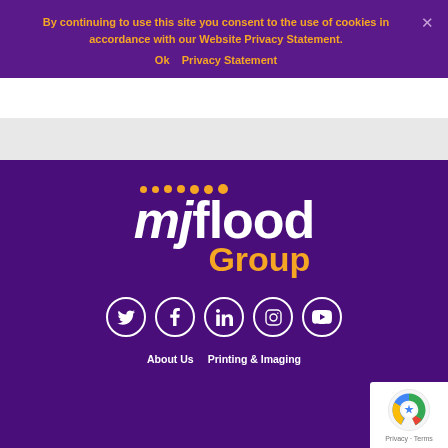By continuing to use this site you consent to the use of cookies in accordance with our Website Privacy Statement.
Ok   Privacy Statement
[Figure (logo): MJ Flood Group logo — white bold italic 'mj flood' text with orange dots above and orange 'Group' text below, on purple background]
[Figure (infographic): Row of 5 social media icons (Twitter, Facebook, LinkedIn, Instagram, YouTube) as white circles with white icons on purple background]
About Us   Printing & Imaging